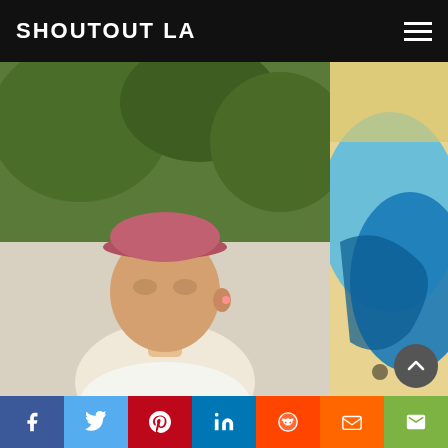SHOUTOUT LA
[Figure (photo): Photo of Jonathan Kim, a young Asian man wearing a pink/mauve baseball cap and white t-shirt, looking down, outdoors with green foliage behind him]
Meet Jonathan Kim | Audio Engineer & Songwriter
[Figure (photo): Partial view of colorful abstract or artistic image, blues and yellows visible, cropped at right edge]
Meet Liz Award Wi...
Previous Post
Meet Jillian Morris: Marine biologist, Founder & President Shark4Kids
Next Post
Meet Chantal Nchako: Actress, Director, Author, Fashion Designer...